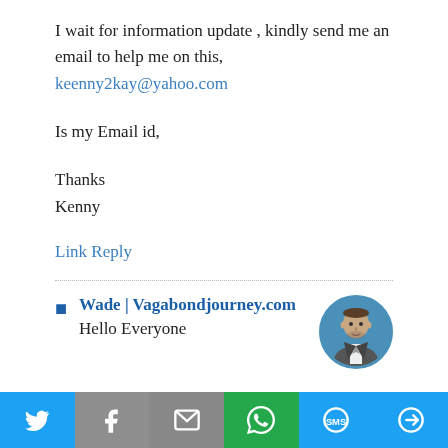I wait for information update , kindly send me an email to help me on this, keenny2kay@yahoo.com
Is my Email id,
Thanks
Kenny
Link Reply
Wade | Vagabondjourney.com
Hello Everyone
[Figure (photo): Circular avatar photo of a man in a suit]